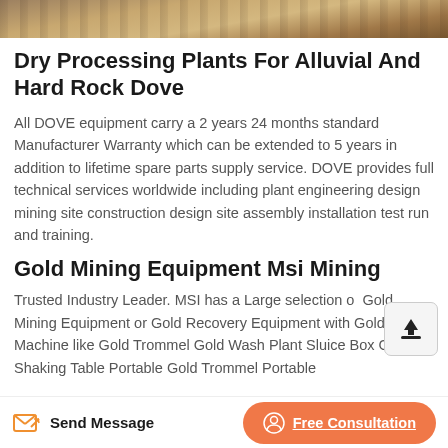[Figure (photo): Partial photo strip at top showing mining/outdoor scene with earth tones]
Dry Processing Plants For Alluvial And Hard Rock Dove
All DOVE equipment carry a 2 years 24 months standard Manufacturer Warranty which can be extended to 5 years in addition to lifetime spare parts supply service. DOVE provides full technical services worldwide including plant engineering design mining site construction design site assembly installation test run and training.
Gold Mining Equipment Msi Mining
Trusted Industry Leader. MSI has a Large selection of Gold Mining Equipment or Gold Recovery Equipment with Gold Machine like Gold Trommel Gold Wash Plant Sluice Box Gold Shaking Table Portable Gold Trommel Portable
Send Message   Free Consultation